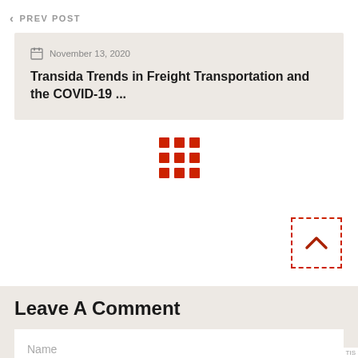< PREV POST
November 13, 2020
Transida Trends in Freight Transportation and the COVID-19 ...
[Figure (other): 3x3 grid of red squares icon (back to posts grid button)]
[Figure (other): Scroll to top button: dashed red border square with red chevron up arrow inside]
Leave A Comment
Name